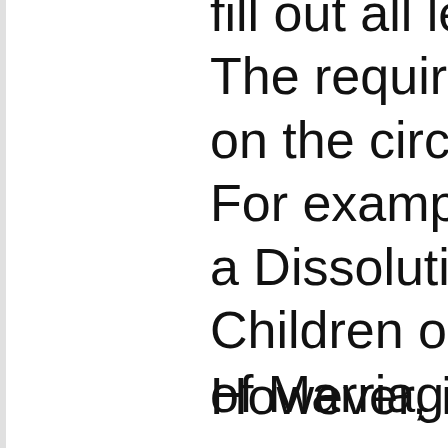fill out all legal docu... The required forms on the circumstance... For example, you w... a Dissolution of Mar... Children or a Petitio... of Marriage With Ch...
However, if you con...